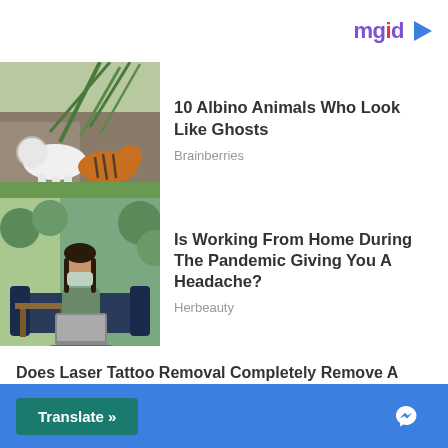[Figure (logo): mgid logo with play button triangle icon in purple and red colors]
[Figure (photo): Photo of a white lion and a striped tiger standing in a zoo or wildlife park with green palm trees and rocky terrain in the background]
10 Albino Animals Who Look Like Ghosts
Brainberries
[Figure (photo): Photo of a woman wearing a face mask, sitting on a couch with a laptop in a plant-filled room or balcony, working from home]
Is Working From Home During The Pandemic Giving You A Headache?
Herbeauty
Does Laser Tattoo Removal Completely Remove A Tattoo?
Translate »